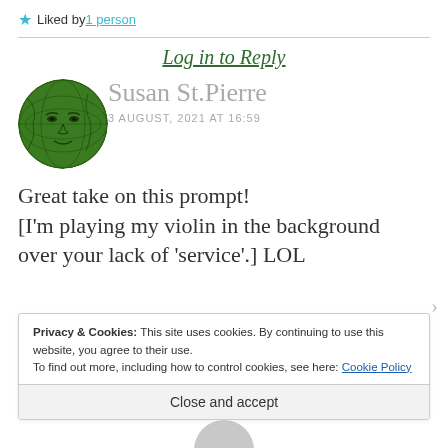★ Liked by 1 person
Log in to Reply
[Figure (illustration): Circular avatar image of Susan St.Pierre — a face with green globe/earth overlay tint]
Susan St.Pierre
3 AUGUST, 2021 AT 16:59
Great take on this prompt! [I'm playing my violin in the background over your lack of 'service'.] LOL
Privacy & Cookies: This site uses cookies. By continuing to use this website, you agree to their use.
To find out more, including how to control cookies, see here: Cookie Policy
Close and accept